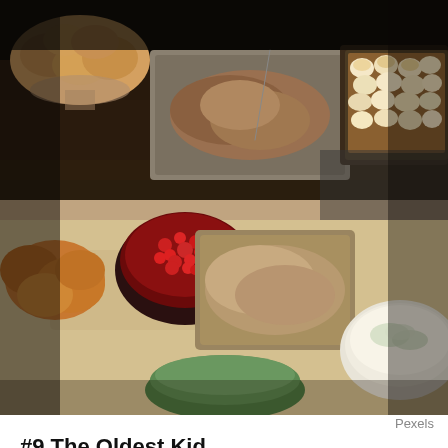[Figure (photo): An overhead/angled view of a Thanksgiving or holiday food spread on a kitchen counter, showing various dishes including pulled meat in a foil pan, a bowl of cranberries, rolls, sweet potato casserole with marshmallows, stuffing, and other holiday dishes.]
Pexels
#9 The Oldest Kid
At my 10-year reunion, the organizers were doing the thing where they give “awards” for the person who came the farthest to attend, the person with the most kids, etc. The award came up for who had the oldest